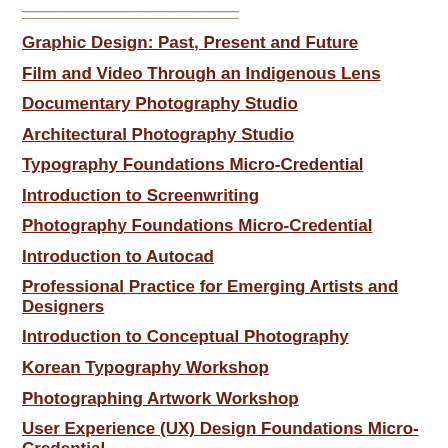Graphic Design: Past, Present and Future
Film and Video Through an Indigenous Lens
Documentary Photography Studio
Architectural Photography Studio
Typography Foundations Micro-Credential
Introduction to Screenwriting
Photography Foundations Micro-Credential
Introduction to Autocad
Professional Practice for Emerging Artists and Designers
Introduction to Conceptual Photography
Korean Typography Workshop
Photographing Artwork Workshop
User Experience (UX) Design Foundations Micro-Credential